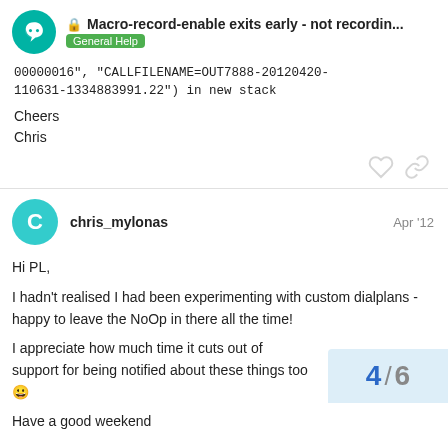Macro-record-enable exits early - not recordin... | General Help
00000016", "CALLFILENAME=OUT7888-20120420-110631-1334883991.22") in new stack
Cheers
Chris
chris_mylonas  Apr '12
Hi PL,
I hadn't realised I had been experimenting with custom dialplans - happy to leave the NoOp in there all the time!
I appreciate how much time it cuts out of support for being notified about these things too 😀
Have a good weekend
4 / 6